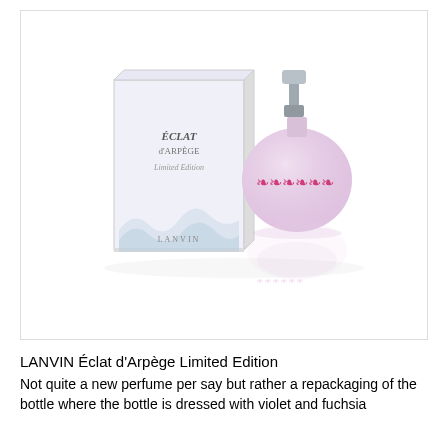[Figure (photo): Product photo of LANVIN Éclat d'Arpège Limited Edition perfume: a transparent box with text 'ÉCLAT d'ARPÈGE Limited Edition' next to a round lavender-pink glass bottle with a silver pump top and pink/fuchsia floral decorations on the bottle body, with a reflection beneath.]
LANVIN Éclat d'Arpège Limited Edition
Not quite a new perfume per say but rather a repackaging of the bottle where the bottle is dressed with violet and fuchsia ribbons,rint that evokes the world of Alber Elbaz.